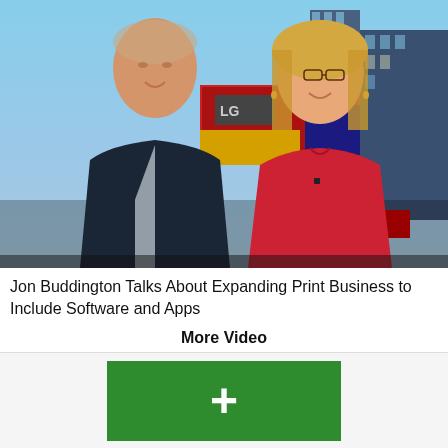[Figure (photo): Two people standing in front of a city/Times Square background: a man in a dark suit on the left and a woman in a red sleeveless top on the right.]
Jon Buddington Talks About Expanding Print Business to Include Software and Apps
More Video
[Figure (logo): Green rectangle with a white plus/hash symbol, partially visible at the bottom of the page.]